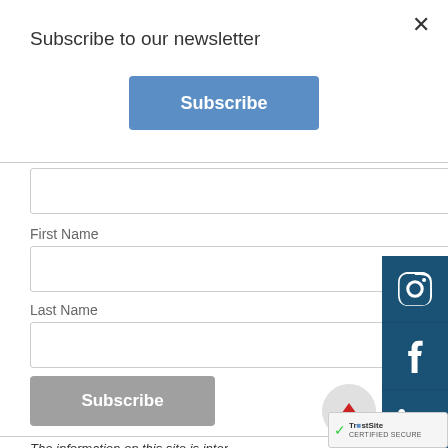Subscribe to our newsletter
Subscribe
First Name
Last Name
Subscribe
The information on this site is intended to be a resource to provide general information to th... The information is intended to supplement in...